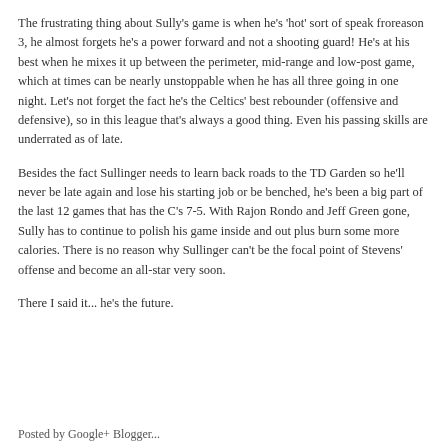The frustrating thing about Sully's game is when he's 'hot' sort of speak froreason 3, he almost forgets he's a power forward and not a shooting guard! He's at his best when he mixes it up between the perimeter, mid-range and low-post game, which at times can be nearly unstoppable when he has all three going in one night. Let's not forget the fact he's the Celtics' best rebounder (offensive and defensive), so in this league that's always a good thing. Even his passing skills are underrated as of late.
Besides the fact Sullinger needs to learn back roads to the TD Garden so he'll never be late again and lose his starting job or be benched, he's been a big part of the last 12 games that has the C's 7-5. With Rajon Rondo and Jeff Green gone, Sully has to continue to polish his game inside and out plus burn some more calories. There is no reason why Sullinger can't be the focal point of Stevens' offense and become an all-star very soon.
There I said it... he's the future.
Posted by Google+ Blogger...